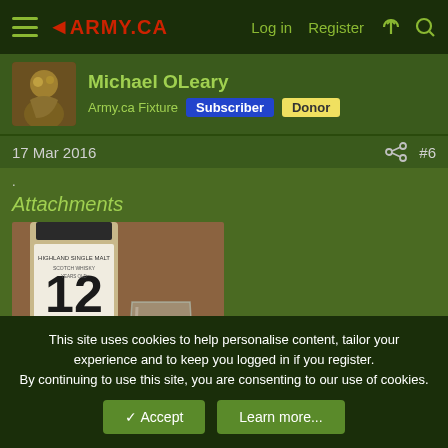ARMY.CA | Log in | Register
Michael OLeary
Army.ca Fixture  Subscriber  Donor
17 Mar 2016  #6
.
Attachments
[Figure (photo): Photo of a whisky bottle labeled '12' (Highland Single Malt Scotch Whisky) next to a glass of whisky on a wooden surface]
This site uses cookies to help personalise content, tailor your experience and to keep you logged in if you register.
By continuing to use this site, you are consenting to our use of cookies.
✓ Accept  Learn more...